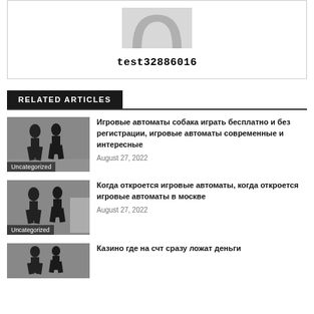[Figure (illustration): User avatar/profile picture placeholder with grey silhouette]
test32886016
RELATED ARTICLES
[Figure (photo): Black and white photo of walking figures silhouettes with Uncategorized label]
Игровые автоматы собака играть бесплатно и без регистрации, игровые автоматы современные и интересные
August 27, 2022
[Figure (photo): Black and white photo of walking figures silhouettes with Uncategorized label]
Когда откроется игровые автоматы, когда откроется игровые автоматы в москве
August 27, 2022
[Figure (photo): Black and white photo of walking figures silhouettes]
Казино где на счт сразу ложат деньги